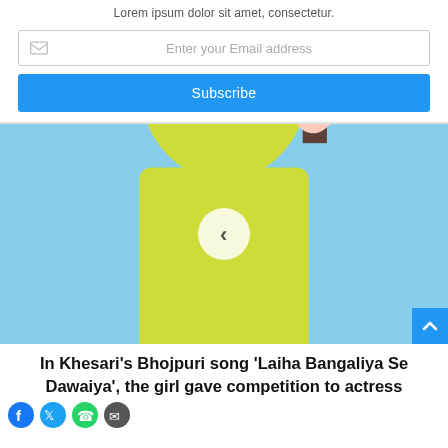Lorem ipsum dolor sit amet, consectetur.
Enter your Email address
Subscribe
[Figure (photo): Three-panel collage of a woman dancing in a yellow-green saree with a white circle navigation arrow overlay in the center panel]
In Khesari's Bhojpuri song 'Laiha Bangaliya Se Dawaiya', the girl gave competition to actress